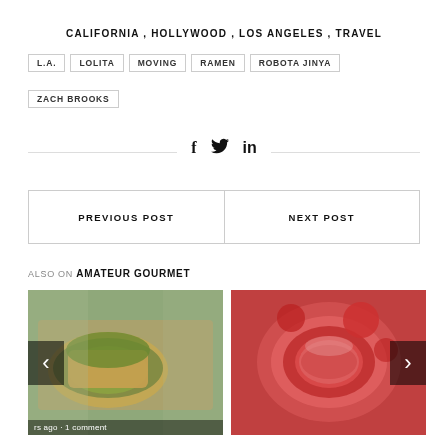CALIFORNIA, HOLLYWOOD, LOS ANGELES, TRAVEL
L.A.
LOLITA
MOVING
RAMEN
ROBOTA JINYA
ZACH BROOKS
[Figure (infographic): Social share icons: Facebook (f), Twitter (bird), LinkedIn (in) centered between horizontal rules]
| PREVIOUS POST | NEXT POST |
| --- | --- |
ALSO ON AMATEUR GOURMET
[Figure (photo): Food photo - toast with green herbs and spread on a wooden board]
[Figure (photo): Food photo - red borscht soup in a white bowl with red rim, garnished with herbs]